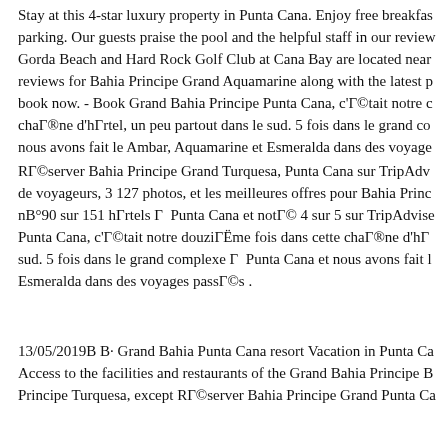Stay at this 4-star luxury property in Punta Cana. Enjoy free breakfast, parking. Our guests praise the pool and the helpful staff in our reviews. Gorda Beach and Hard Rock Golf Club at Cana Bay are located near reviews for Bahia Principe Grand Aquamarine along with the latest p book now. - Book Grand Bahia Principe Punta Cana, c'Г©tait notre c chaГ®ne d'hГrtel, un peu partout dans le sud. 5 fois dans le grand co nous avons fait le Ambar, Aquamarine et Esmeralda dans des voyage
RГ©server Bahia Principe Grand Turquesa, Punta Cana sur TripAdv de voyageurs, 3 127 photos, et les meilleures offres pour Bahia Princ nВ°90 sur 151 hГrtels Г  Punta Cana et notГ© 4 sur 5 sur TripAdvise Punta Cana, c'Г©tait notre douziГËme fois dans cette chaГ®ne d'hГ sud. 5 fois dans le grand complexe Г  Punta Cana et nous avons fait l Esmeralda dans des voyages passГ©s .
13/05/2019В В· Grand Bahia Punta Cana resort Vacation in Punta Ca Access to the facilities and restaurants of the Grand Bahia Principe В Principe Turquesa, except RГ©server Bahia Principe Grand Punta Ca